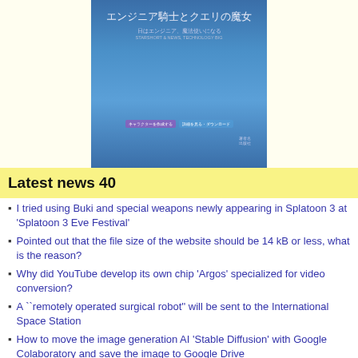[Figure (illustration): Book cover for a Japanese tech book with blue gradient background and Japanese title text エンジニア騎士とクエリの魔女]
Latest news 40
I tried using Buki and special weapons newly appearing in Splatoon 3 at 'Splatoon 3 Eve Festival'
Pointed out that the file size of the website should be 14 kB or less, what is the reason?
Why did YouTube develop its own chip 'Argos' specialized for video conversion?
A ``remotely operated surgical robot'' will be sent to the International Space Station
How to move the image generation AI 'Stable Diffusion' with Google Colaboratory and save the image to Google Drive